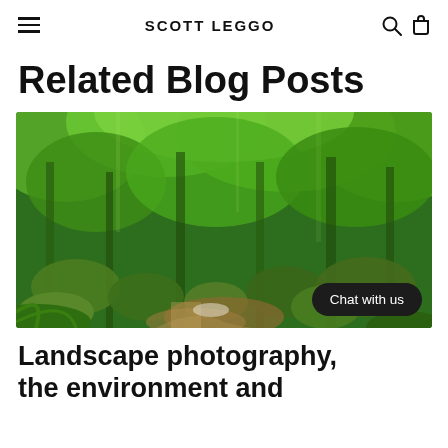SCOTT LEGGO
Related Blog Posts
[Figure (photo): Lush green rainforest scene with a small stream running over moss-covered rocks, surrounded by tropical ferns and tall trees with dense green canopy]
Chat with us
Landscape photography, the environment and